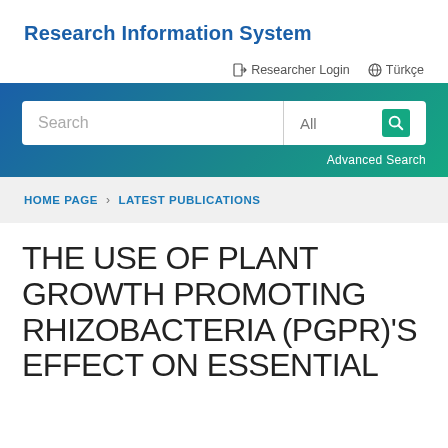Research Information System
Researcher Login   Türkçe
[Figure (screenshot): Search bar with 'Search' placeholder on left, 'All' dropdown and green search icon on right, on a blue-to-teal gradient background with 'Advanced Search' link below]
HOME PAGE > LATEST PUBLICATIONS
THE USE OF PLANT GROWTH PROMOTING RHIZOBACTERIA (PGPR)'S EFFECT ON ESSENTIAL